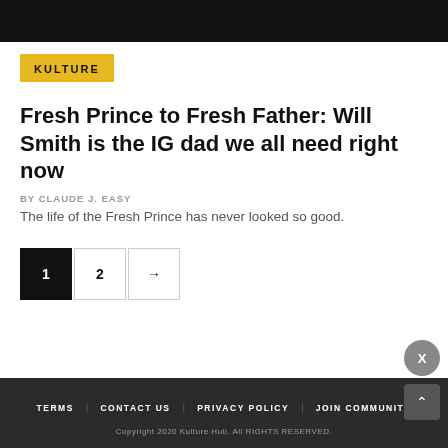[Figure (other): Black header bar at top of page]
KULTURE
Fresh Prince to Fresh Father: Will Smith is the IG dad we all need right now
BY CLAUDE J. EASY
The life of the Fresh Prince has never looked so good.
Pagination: 1, 2, →
TERMS   CONTACT US   PRIVACY POLICY   JOIN COMMUNITY
Copyright 2020 Kulture Hub. All RIGHTS RESERVED.